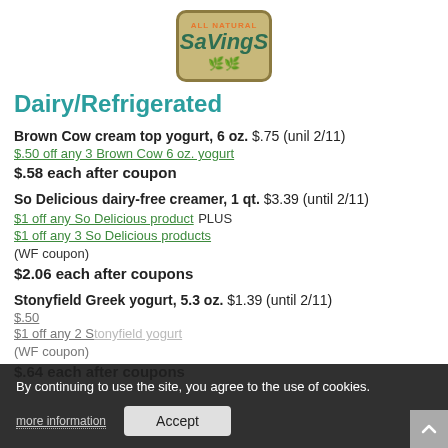[Figure (logo): All Natural Savings logo — tan/khaki rounded rectangle with orange top text 'ALL NATURAL', large teal italic 'SaVingS', and green leaf icons below]
Dairy/Refrigerated
Brown Cow cream top yogurt, 6 oz. $.75 (unil 2/11)
$.50 off any 3 Brown Cow 6 oz. yogurt
$.58 each after coupon
So Delicious dairy-free creamer, 1 qt. $3.39 (until 2/11)
$1 off any So Delicious product  PLUS
$1 off any 3 So Delicious products (WF coupon)
$2.06 each after coupons
Stonyfield Greek yogurt, 5.3 oz. $1.39 (until 2/11)
$.50 [partially obscured by cookie banner]
$1 off any 2 Stonyfield yogurt [partially obscured] (WF coupon)
$.64 each after coupons
By continuing to use the site, you agree to the use of cookies.
more information   Accept